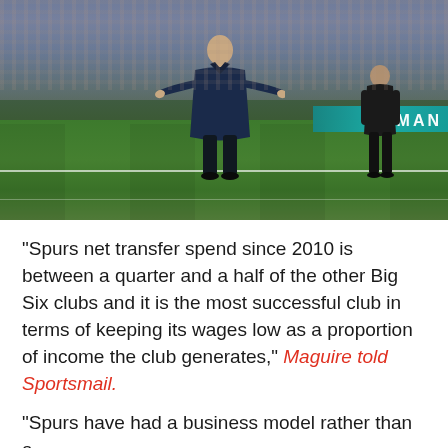[Figure (photo): A football manager (Antonio Conte) on the touchline of a football pitch with arms spread wide, wearing a navy blue puffer jacket. A second figure in black stands behind him to the right. Crowd visible in background, advertising boards along the pitch side.]
“Spurs net transfer spend since 2010 is between a quarter and a half of the other Big Six clubs and it is the most successful club in terms of keeping its wages low as a proportion of income the club generates,” Maguire told Sportsmail.
“Spurs have had a business model rather than a